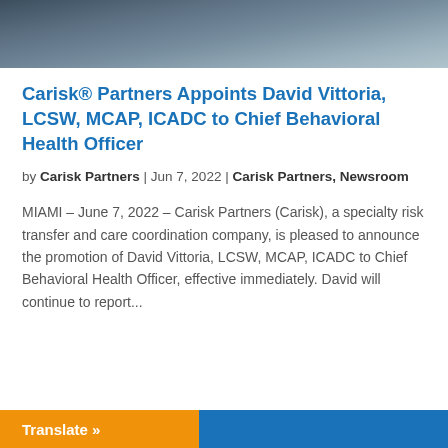[Figure (photo): Partial photo of a person wearing a dark suit jacket and light-colored shirt, cropped at the top of the page.]
Carisk® Partners Appoints David Vittoria, LCSW, MCAP, ICADC to Chief Behavioral Health Officer
by Carisk Partners | Jun 7, 2022 | Carisk Partners, Newsroom
MIAMI – June 7, 2022 – Carisk Partners (Carisk), a specialty risk transfer and care coordination company, is pleased to announce the promotion of David Vittoria, LCSW, MCAP, ICADC to Chief Behavioral Health Officer, effective immediately. David will continue to report...
Translate »